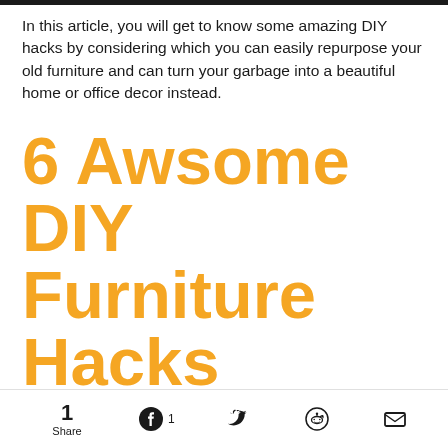In this article, you will get to know some amazing DIY hacks by considering which you can easily repurpose your old furniture and can turn your garbage into a beautiful home or office decor instead.
6 Awsome DIY Furniture Hacks
Let’s get started....
1 Share | Facebook 1 | Twitter | Reddit | Email